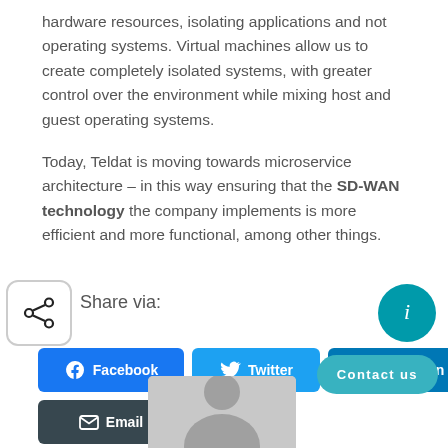hardware resources, isolating applications and not operating systems. Virtual machines allow us to create completely isolated systems, with greater control over the environment while mixing host and guest operating systems.
Today, Teldat is moving towards microservice architecture – in this way ensuring that the SD-WAN technology the company implements is more efficient and more functional, among other things.
Share via:
[Figure (infographic): Share buttons: Facebook, Twitter, LinkedIn, Email. Also contact us button and info circle icon.]
[Figure (photo): Photo of a person, cropped at bottom of page.]